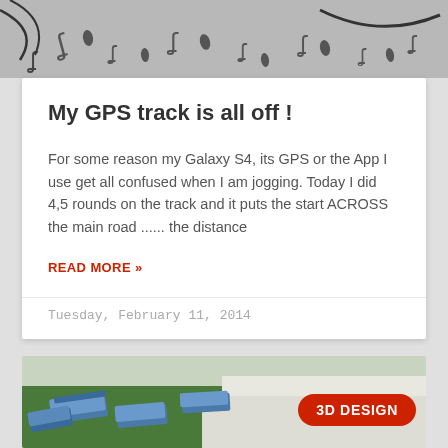[Figure (illustration): Top portion of a hand-drawn style illustration with rain drops and curved lines on a gray background]
My GPS track is all off !
For some reason my Galaxy S4, its GPS or the App I use get all confused when I am jogging. Today I did 4,5 rounds on the track and it puts the start ACROSS the main road ...... the distance
READ MORE »
Tuesday, February 11, 2014
[Figure (screenshot): Bottom image showing 3D design aerial view with blue container-like objects on a green and white surface, with a red oval badge reading '3D DESIGN']